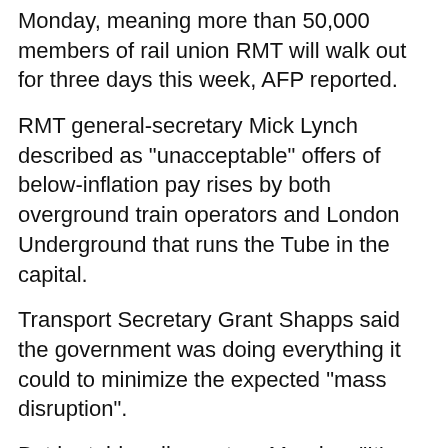Monday, meaning more than 50,000 members of rail union RMT will walk out for three days this week, AFP reported.
RMT general-secretary Mick Lynch described as "unacceptable" offers of below-inflation pay rises by both overground train operators and London Underground that runs the Tube in the capital.
Transport Secretary Grant Shapps said the government was doing everything it could to minimize the expected "mass disruption".
But he told parliament on Monday: "It's estimated that around 20 percent of planned services will operate, focused on key workers, main population centers and critical freight routes."
The strikes -- also on Thursday and Saturday – risk causing significant disruption to major events